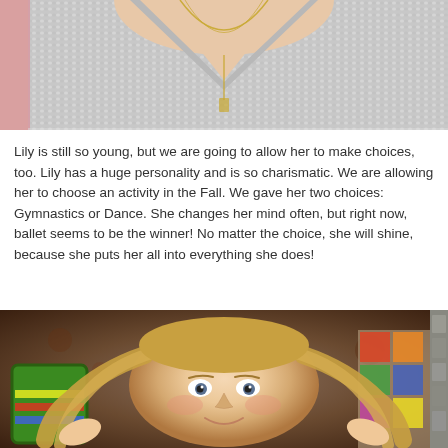[Figure (photo): Cropped photo showing lower neck and chest area of a person wearing a grey/white knit sweater with a gold chain necklace. Pink background visible on left side.]
Lily is still so young, but we are going to allow her to make choices, too. Lily has a huge personality and is so charismatic.  We are allowing her to choose an activity in the Fall. We gave her two choices: Gymnastics or Dance.  She changes her mind often, but right now, ballet seems to be the winner!  No matter the choice, she will shine, because she puts her all into everything she does!
[Figure (photo): Photo of a young blonde girl (toddler) smiling and holding her hair out to the sides with both hands. Background shows a room with dark floral wallpaper, colorful toys on left, and stone wall on right.]